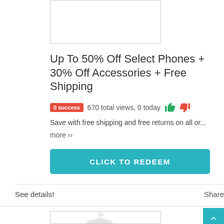[Figure (other): Top product image placeholder box (empty white box with border)]
Up To 50% Off Select Phones + 30% Off Accessories + Free Shipping
0 success   670 total views, 0 today
Save with free shipping and free returns on all or...
more ››
CLICK TO REDEEM
See details!
Share
[Figure (other): Bottom product image placeholder box with faint hanger icon]